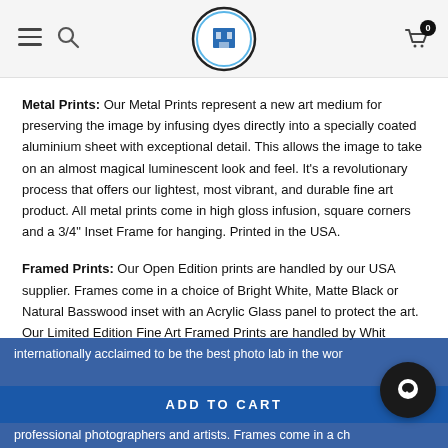Navigation header with hamburger menu, search icon, logo, and cart icon with badge 0
Metal Prints: Our Metal Prints represent a new art medium for preserving the image by infusing dyes directly into a specially coated aluminium sheet with exceptional detail. This allows the image to take on an almost magical luminescent look and feel. It's a revolutionary process that offers our lightest, most vibrant, and durable fine art product. All metal prints come in high gloss infusion, square corners and a 3/4" Inset Frame for hanging. Printed in the USA.
Framed Prints: Our Open Edition prints are handled by our USA supplier. Frames come in a choice of Bright White, Matte Black or Natural Basswood inset with an Acrylic Glass panel to protect the art. Our Limited Edition Fine Art Framed Prints are handled by White Wall, internationally acclaimed to be the best photo lab in the world by professional photographers and artists. Frames come in a choice of Bright White, Matte Black or Natural Oak inset with matte floating glass